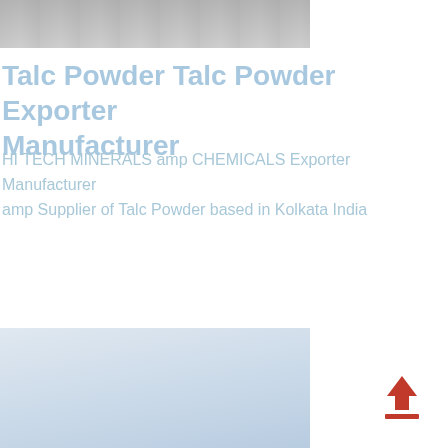[Figure (photo): Partial photograph of industrial/laboratory equipment, cropped at top of page, gray tones]
Talc Powder Talc Powder Exporter Manufacturer
HI TECH MINERALS amp CHEMICALS Exporter Manufacturer amp Supplier of Talc Powder based in Kolkata India
[Figure (photo): Partial light blue/gray toned image at bottom of page]
[Figure (other): Red upload arrow icon with horizontal underline bar]